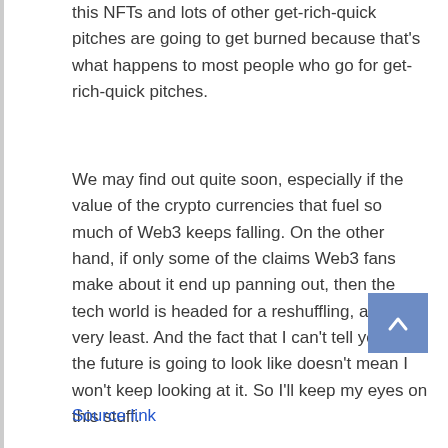this NFTs and lots of other get-rich-quick pitches are going to get burned because that's what happens to most people who go for get-rich-quick pitches.
We may find out quite soon, especially if the value of the crypto currencies that fuel so much of Web3 keeps falling. On the other hand, if only some of the claims Web3 fans make about it end up panning out, then the tech world is headed for a reshuffling, at the very least. And the fact that I can't tell you what the future is going to look like doesn't mean I won't keep looking at it. So I'll keep my eyes on this stuff.
Source link